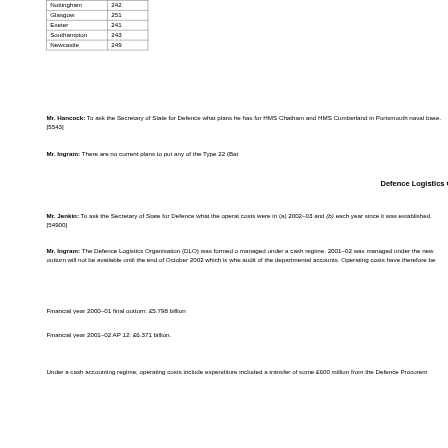|  |  |
| --- | --- |
| Nottingham | 242 |
| Glasgow | 251 |
| Exeter | 241 |
| Southampton | 243 |
| Newcastle | 249 |
Mr. Hancock: To ask the Secretary of State for Defence what plans he has for HMS Chatham and HMS Cumberland in Portsmouth naval base. [5543]
Mr. Ingram: There are no current plans to put any of the Type 22 (Batch
Defence Logistics O
Mr. Jenkin: To ask the Secretary of State for Defence what the operating costs were in (a) 2002–03 and (b) each year since it was established. [54900]
Mr. Ingram: The Defence Logistics Organisation (DLO) was formed on managed under a cash regime. 2001–02 was managed under the new outturn will not be available until the end of October 2002 which is when audit of the departmental accounts. Operating costs have therefore be
Financial year 2000–01 final outturn: £5.798 billion
Financial year 2001–02 AP 12: £6.371 billion.
Under a cash accounting regime, operating costs include expenditure included a transfer of some £600 million from the Defence Procurement